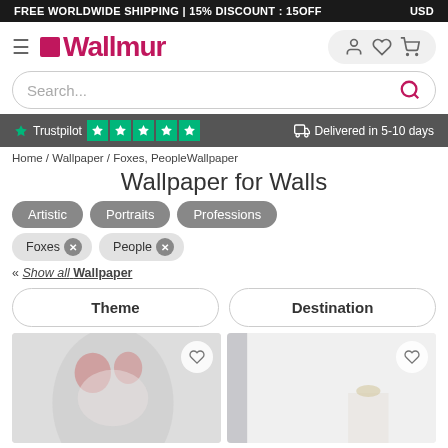FREE WORLDWIDE SHIPPING | 15% DISCOUNT : 15OFF   USD
[Figure (logo): Wallmur logo with pink square icon and brand name]
Search...
★ Trustpilot ★★★★★   🚚 Delivered in 5-10 days
Home / Wallpaper / Foxes, PeopleWallpaper
Wallpaper for Walls
Artistic
Portraits
Professions
Foxes ✕
People ✕
« Show all Wallpaper
Theme
Destination
[Figure (photo): Wallpaper product image showing artistic face with roses]
[Figure (photo): Wallpaper product image showing minimalist room scene]